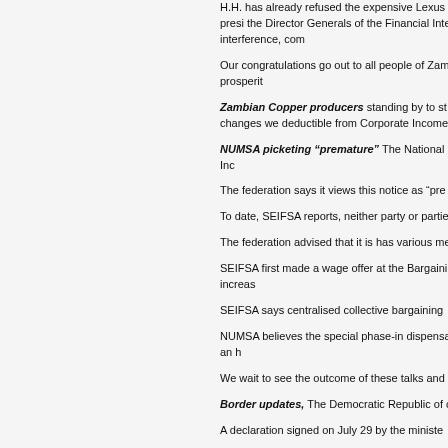H.H. has already refused the expensive Lexus Zambia, that all Zambians matter and the president the Director Generals of the Financial Intelligence right direction free of political interference, com
Our congratulations go out to all people of Zam office for HH that will bring upliftment, prosperit
Zambian Copper producers standing by to st been on hold since 2019 when tax changes we deductible from Corporate Income Tax.
NUMSA picketing “premature” The National negotiations with the Steel and Engineering Inc
The federation says it views this notice as “pre
To date, SEIFSA reports, neither party or partie ongoing.
The federation advised that it is has various me
SEIFSA first made a wage offer at the Bargaini suggested that workers receive a 4.4% increas
SEIFSA says centralised collective bargaining
NUMSA believes the special phase-in dispensa not been paying the minimum rate of R49 an h
We wait to see the outcome of these talks and catastrophic event.
Border updates, The Democratic Republic of carrying DRC minerals out of the country.
A declaration signed on July 29 by the ministe